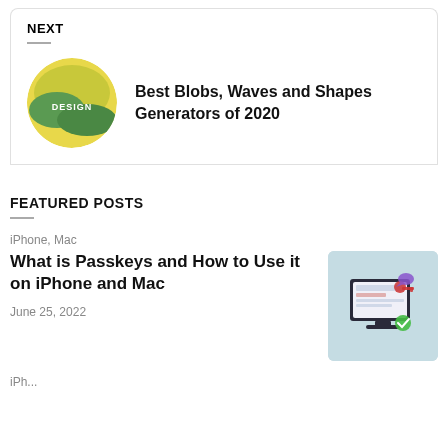NEXT
[Figure (illustration): Yellow and green circular blob design illustration with text DESIGN in the center]
Best Blobs, Waves and Shapes Generators of 2020
FEATURED POSTS
iPhone, Mac
What is Passkeys and How to Use it on iPhone and Mac
June 25, 2022
[Figure (illustration): Isometric illustration of a computer monitor with a red key and password/security elements on a light blue background]
iPh...